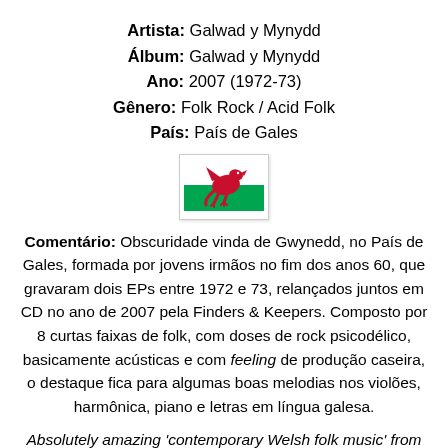Artista: Galwad y Mynydd
Álbum: Galwad y Mynydd
Ano: 2007 (1972-73)
Gênero: Folk Rock / Acid Folk
País: País de Gales
[Figure (illustration): Welsh flag (Y Ddraig Goch) — red dragon on white and green background, small square format with border]
Comentário: Obscuridade vinda de Gwynedd, no País de Gales, formada por jovens irmãos no fim dos anos 60, que gravaram dois EPs entre 1972 e 73, relançados juntos em CD no ano de 2007 pela Finders & Keepers. Composto por 8 curtas faixas de folk, com doses de rock psicodélico, basicamente acústicas e com feeling de produção caseira, o destaque fica para algumas boas melodias nos violões, harmônica, piano e letras em língua galesa.
Absolutely amazing 'contemporary Welsh folk music' from the early 1970s. Galwad Y Mynydd (The Call of the Mountain) was a group formed by teenage brothers who went on to record one obscure LP which was re-issued via the Finder's Keeper's label in 2007. Great amateur vocal